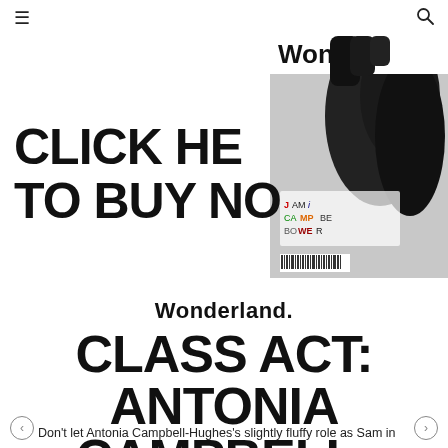≡  [search icon]
[Figure (photo): Wonderland magazine cover partially visible, showing a person in black gloves with the word 'Wond' visible at top and 'Jamie Campbell Bower' text collage in middle, barcode at bottom]
CLICK HERE TO BUY NOW
Wonderland.
CLASS ACT: ANTONIA CAMPBELL-HUGHES
Don't let Antonia Campbell-Hughes's slightly fluffy role as Sam in